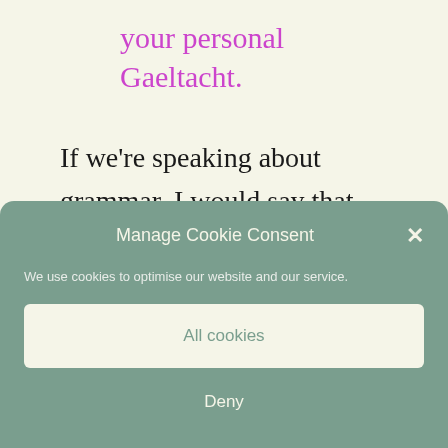your personal Gaeltacht.
If we're speaking about grammar, I would say that word order is hard and far more important than subtle (and not so subtle)
Manage Cookie Consent
We use cookies to optimise our website and our service.
All cookies
Deny